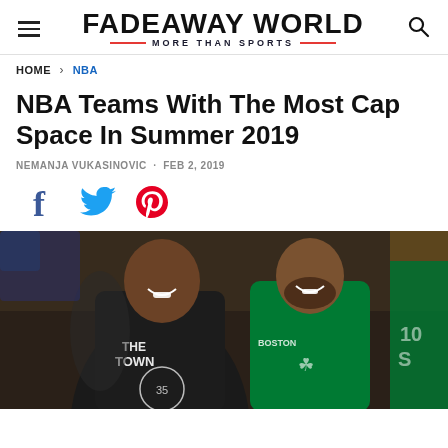FADEAWAY WORLD — MORE THAN SPORTS
HOME > NBA
NBA Teams With The Most Cap Space In Summer 2019
NEMANJA VUKASINOVIC · FEB 2, 2019
[Figure (other): Social share icons: Facebook, Twitter, Pinterest]
[Figure (photo): Basketball players Kevin Durant (Golden State Warriors, #35, black jersey with 'THE TOWN') and Kyrie Irving (Boston Celtics, green jersey) smiling together on a basketball court with a crowd in the background]